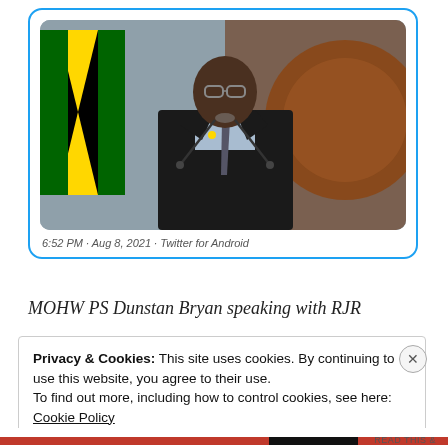[Figure (photo): A man in a dark suit speaking at a podium with microphones. A Jamaican flag is visible on the left, and a large wooden coat of arms is on the wall behind him.]
6:52 PM · Aug 8, 2021 · Twitter for Android
MOHW PS Dunstan Bryan speaking with RJR
Privacy & Cookies: This site uses cookies. By continuing to use this website, you agree to their use.
To find out more, including how to control cookies, see here:
Cookie Policy
Close and accept